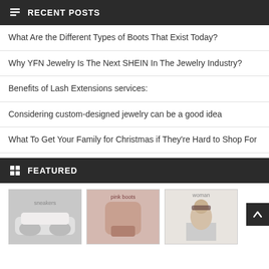RECENT POSTS
What Are the Different Types of Boots That Exist Today?
Why YFN Jewelry Is The Next SHEIN In The Jewelry Industry?
Benefits of Lash Extensions services:
Considering custom-designed jewelry can be a good idea
What To Get Your Family for Christmas if They're Hard to Shop For
FEATURED
[Figure (photo): Thumbnail image of white sneakers/shoes]
[Figure (photo): Thumbnail image of pink boots/shoes]
[Figure (photo): Thumbnail image of a woman in sunglasses outdoors]